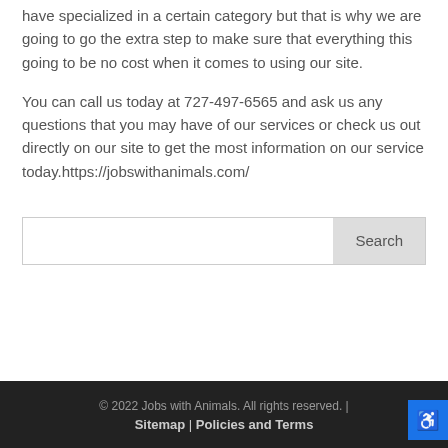have specialized in a certain category but that is why we are going to go the extra step to make sure that everything this going to be no cost when it comes to using our site.
You can call us today at 727-497-6565 and ask us any questions that you may have of our services or check us out directly on our site to get the most information on our service today.https://jobswithanimals.com/
© 2022 Jobs with Animals. All rights reserved. | Sitemap | Policies and Terms